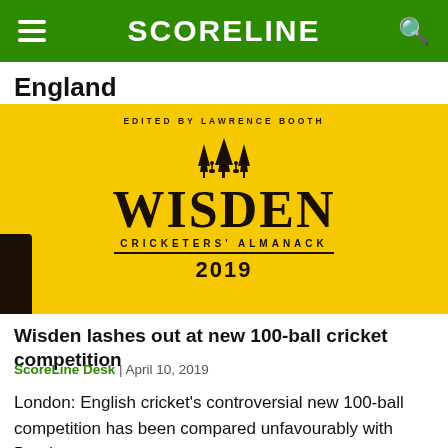SCORELINE
England
[Figure (photo): Wisden Cricketers' Almanack 2019 yellow book cover, edited by Lawrence Booth, showing the Wisden woodcut illustration and the title in bold serif font]
Wisden lashes out at new 100-ball cricket competition
ScoreLine Desk | April 10, 2019
London: English cricket's controversial new 100-ball competition has been compared unfavourably with Brexit